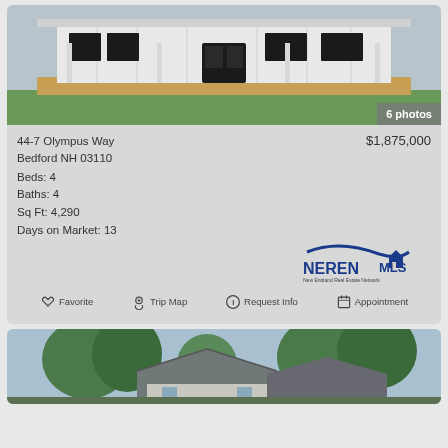[Figure (photo): Exterior rendering of a white single-story house with front porch, large windows, and green lawn]
6 photos
44-7 Olympus Way
Bedford NH 03110
Beds: 4
Baths: 4
Sq Ft: 4,290
Days on Market: 13
$1,875,000
[Figure (logo): NEREN MLS - New England Real Estate Network logo]
Favorite  Trip Map  Request Info  Appointment
[Figure (photo): Exterior photo of a house with trees in background, gabled roofline visible]